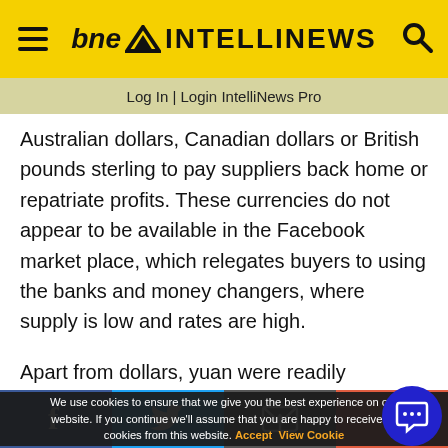bne INTELLINEWS
Log In | Login IntelliNews Pro
Australian dollars, Canadian dollars or British pounds sterling to pay suppliers back home or repatriate profits. These currencies do not appear to be available in the Facebook market place, which relegates buyers to using the banks and money changers, where supply is low and rates are high.
Apart from dollars, yuan were readily available in large quantities on Facebook. Unlike dollars,
We use cookies to ensure that we give you the best experience on our website. If you continue we'll assume that you are happy to receive all cookies from this website. Accept  View Cookie